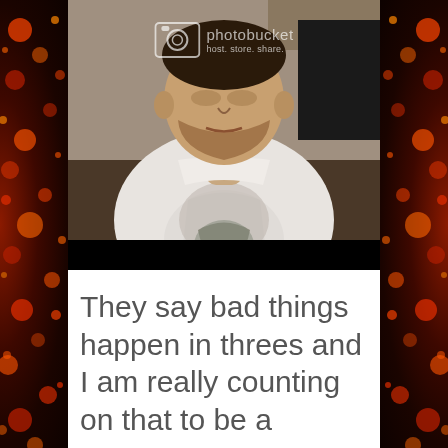[Figure (photo): A person taking a selfie wearing a white graphic t-shirt, with a Photobucket watermark overlay on the image. There is a black bar at the bottom of the photo. The image has dark fiery/bokeh borders on the left and right sides of the page.]
They say bad things happen in threes and I am really counting on that to be a